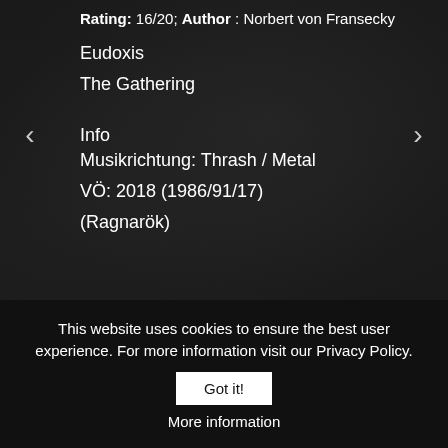Rating: 16/20; Author : Norbert von Fransecky
Eudoxis
The Gathering
Info
Musikrichtung: Thrash / Metal
VÖ: 2018 (1986/91/17)
(Ragnarök)
This website uses cookies to ensure the best user experience. For more information visit our Privacy Policy.
Got it!
More information